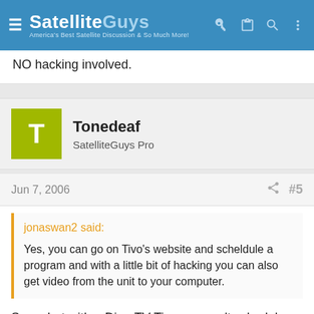SatelliteGuys — America's Best Satellite Discussion & So Much More!
NO hacking involved.
Tonedeaf
SatelliteGuys Pro
Jun 7, 2006   #5
jonaswan2 said:

Yes, you can go on Tivo's website and scheldule a program and with a little bit of hacking you can also get video from the unit to your computer.
Sorry, but with a DirecTV Tivo you can't schedule via Tivo's website. You will have to set it up manually. A site like no-ip.com can get you a web address for free